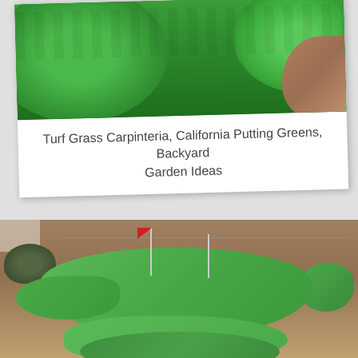[Figure (photo): Top portion of a polaroid-style card showing close-up of bright green turf grass / artificial putting green surface with gravel/dirt visible on the right edge]
Turf Grass Carpinteria, California Putting Greens, Backyard Garden Ideas
[Figure (photo): Backyard putting green installation with artificial turf in a kidney/irregular shaped layout, two golf hole flags visible, surrounded by gravel/decomposed granite, shrubs and trees in background, residential building partially visible on left]